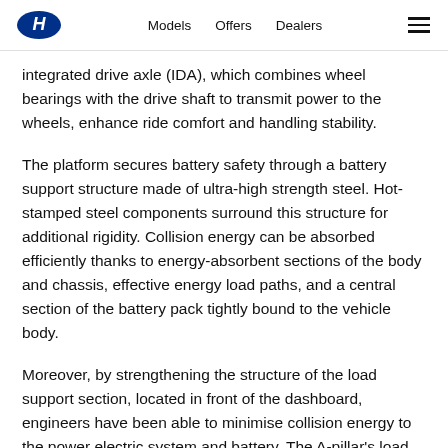Hyundai logo | Models  Offers  Dealers | Menu
integrated drive axle (IDA), which combines wheel bearings with the drive shaft to transmit power to the wheels, enhance ride comfort and handling stability.
The platform secures battery safety through a battery support structure made of ultra-high strength steel. Hot-stamped steel components surround this structure for additional rigidity. Collision energy can be absorbed efficiently thanks to energy-absorbent sections of the body and chassis, effective energy load paths, and a central section of the battery pack tightly bound to the vehicle body.
Moreover, by strengthening the structure of the load support section, located in front of the dashboard, engineers have been able to minimise collision energy to the power electric system and battery. The A-pillar's load